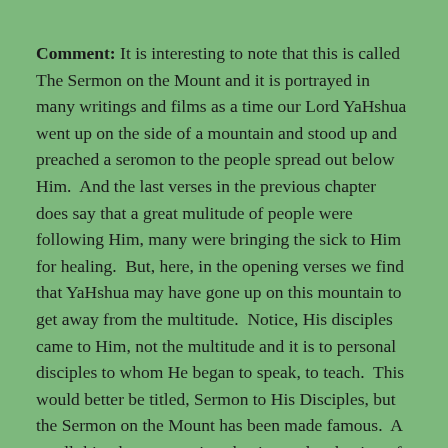Comment: It is interesting to note that this is called The Sermon on the Mount and it is portrayed in many writings and films as a time our Lord YaHshua went up on the side of a mountain and stood up and preached a seromon to the people spread out below Him.  And the last verses in the previous chapter does say that a great mulitude of people were following Him, many were bringing the sick to Him for healing.  But, here, in the opening verses we find that YaHshua may have gone up on this mountain to get away from the multitude.  Notice, His disciples came to Him, not the multitude and it is to personal disciples to whom He began to speak, to teach.  This would better be titled, Sermon to His Disciples, but the Sermon on the Mount has been made famous.  A small thing but a recurring shaping and reshaping of words leading to interpretations that are off track or begin to go off track.  Certainly, these words, His words should be applied and followed by every person possible, not just disciples, but especially to disciples, to those confessing Him...